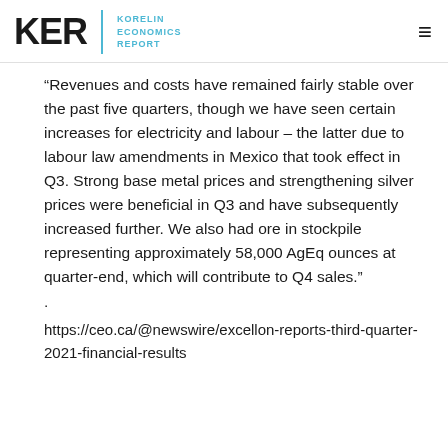KER | KORELIN ECONOMICS REPORT
“Revenues and costs have remained fairly stable over the past five quarters, though we have seen certain increases for electricity and labour – the latter due to labour law amendments in Mexico that took effect in Q3. Strong base metal prices and strengthening silver prices were beneficial in Q3 and have subsequently increased further. We also had ore in stockpile representing approximately 58,000 AgEq ounces at quarter-end, which will contribute to Q4 sales.”
.
https://ceo.ca/@newswire/excellon-reports-third-quarter-2021-financial-results